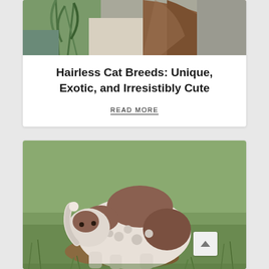[Figure (photo): Top portion of a cat (possibly Sphynx or similar) near green plants, viewed from behind, with tan/brown fur partially visible, indoor setting]
Hairless Cat Breeds: Unique, Exotic, and Irresistibly Cute
READ MORE
[Figure (photo): A curly-coated cat (Selkirk Rex or similar breed) with white and brown/chocolate patched fur, crouching on grass outdoors, tail raised]